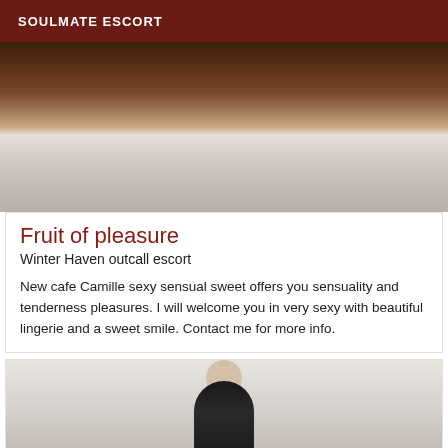SOULMATE ESCORT
[Figure (photo): Close-up photograph of a person lying on white bedding/pillows, cropped/partial view]
Fruit of pleasure
Winter Haven outcall escort
New cafe Camille sexy sensual sweet offers you sensuality and tenderness pleasures. I will welcome you in very sexy with beautiful lingerie and a sweet smile. Contact me for more info.
[Figure (photo): Partial photograph of a person, cropped at bottom of page, figure wearing dark clothing]